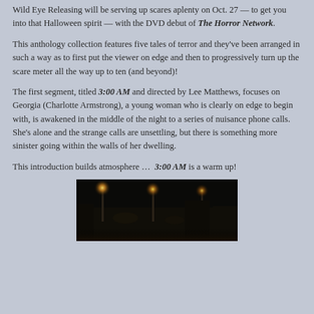Wild Eye Releasing will be serving up scares aplenty on Oct. 27 — to get you into that Halloween spirit — with the DVD debut of The Horror Network.
This anthology collection features five tales of terror and they've been arranged in such a way as to first put the viewer on edge and then to progressively turn up the scare meter all the way up to ten (and beyond)!
The first segment, titled 3:00 AM and directed by Lee Matthews, focuses on Georgia (Charlotte Armstrong), a young woman who is clearly on edge to begin with, is awakened in the middle of the night to a series of nuisance phone calls.  She's alone and the strange calls are unsettling, but there is something more sinister going within the walls of her dwelling.
This introduction builds atmosphere …  3:00 AM is a warm up!
[Figure (photo): Dark nighttime scene with glowing street lamps illuminating a shadowy outdoor setting]